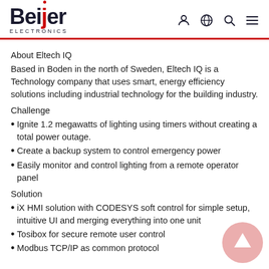[Figure (logo): Beijer Electronics logo with red dot above 'i' and red underline, plus navigation icons (user, globe, search, menu)]
About Eltech IQ
Based in Boden in the north of Sweden, Eltech IQ is a Technology company that uses smart, energy efficiency solutions including industrial technology for the building industry.
Challenge
Ignite 1.2 megawatts of lighting using timers without creating a total power outage.
Create a backup system to control emergency power
Easily monitor and control lighting from a remote operator panel
Solution
iX HMI solution with CODESYS soft control for simple setup, intuitive UI and merging everything into one unit
Tosibox for secure remote user control
Modbus TCP/IP as common protocol